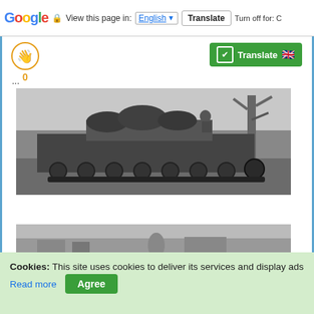Google | View this page in: English | Translate | Turn off for: C
[Figure (screenshot): Vote/hand icon in orange circle with count 0]
[Figure (screenshot): Green Translate button with UK flag]
...
[Figure (photo): Black and white photograph of a World War II German tank (Panzer/StuG) with foliage camouflage, a soldier visible on top, with a tree in the background]
[Figure (photo): Partial black and white photograph showing another military vehicle scene]
Cookies: This site uses cookies to deliver its services and display ads Read more Agree